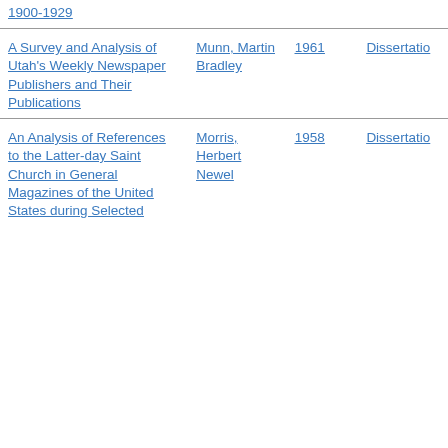| Title | Author | Year | Type |
| --- | --- | --- | --- |
| 1900-1929 [truncated top] |  |  |  |
| A Survey and Analysis of Utah's Weekly Newspaper Publishers and Their Publications | Munn, Martin Bradley | 1961 | Dissertation |
| An Analysis of References to the Latter-day Saint Church in General Magazines of the United States during Selected [truncated] | Morris, Herbert Newel | 1958 | Dissertation |